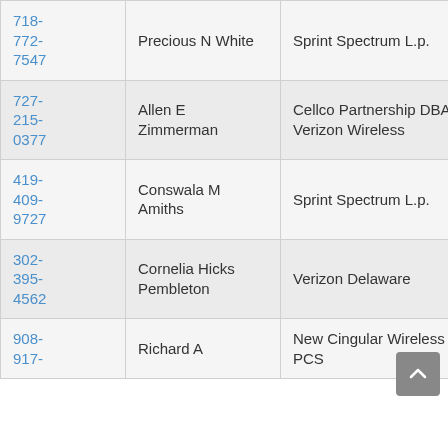| 718-772-7547 | Precious N White | Sprint Spectrum L.p. | GA |
| 727-215-0377 | Allen E Zimmerman | Cellco Partnership DBA Verizon Wireless | FL |
| 419-409-9727 | Conswala M Amiths | Sprint Spectrum L.p. | OH |
| 302-395-4562 | Cornelia Hicks Pembleton | Verizon Delaware | DE |
| 908-917-... | Richard A ... | New Cingular Wireless PCS ... | NJ |